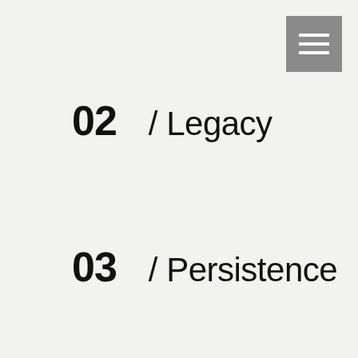[Figure (other): Hamburger menu icon button — grey square with three white horizontal lines]
02 / Legacy
03 / Persistence